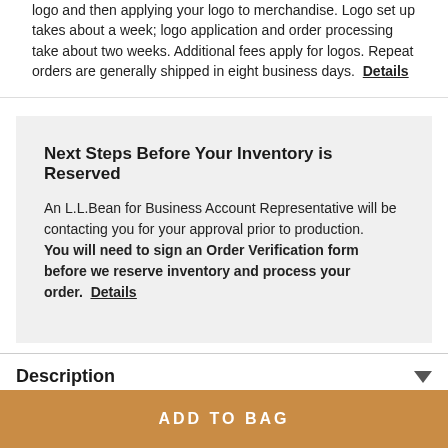logo and then applying your logo to merchandise. Logo set up takes about a week; logo application and order processing take about two weeks. Additional fees apply for logos. Repeat orders are generally shipped in eight business days. Details
Next Steps Before Your Inventory is Reserved
An L.L.Bean for Business Account Representative will be contacting you for your approval prior to production. You will need to sign an Order Verification form before we reserve inventory and process your order. Details
Description
ADD TO BAG